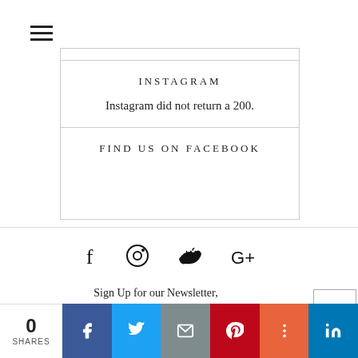[Figure (other): Hamburger menu icon with three horizontal lines]
INSTAGRAM
Instagram did not return a 200.
FIND US ON FACEBOOK
[Figure (other): Social media icons: Facebook (f), Instagram (circle), Twitter (bird), Google+ (G+)]
Sign Up for our Newsletter, and never miss an update.
0 SHARES | Facebook | Twitter | Email | Pinterest | More | LinkedIn